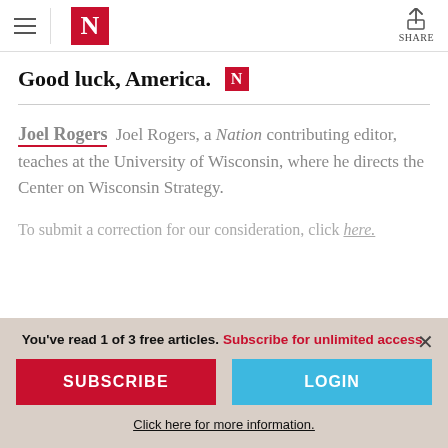The Nation — navigation header with hamburger menu, N logo, and Share button
Good luck, America.
Joel Rogers   Joel Rogers, a Nation contributing editor, teaches at the University of Wisconsin, where he directs the Center on Wisconsin Strategy.
To submit a correction for our consideration, click here.
You've read 1 of 3 free articles. Subscribe for unlimited access. SUBSCRIBE LOGIN Click here for more information.